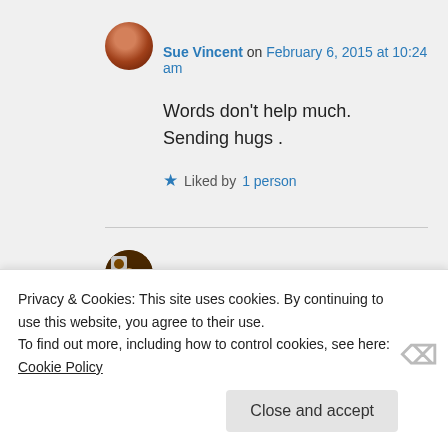Sue Vincent on February 6, 2015 at 10:24 am
Words don't help much. Sending hugs .
Liked by 1 person
D. Parker on February 6, 2015 at 10:26 am
Privacy & Cookies: This site uses cookies. By continuing to use this website, you agree to their use. To find out more, including how to control cookies, see here: Cookie Policy
Close and accept